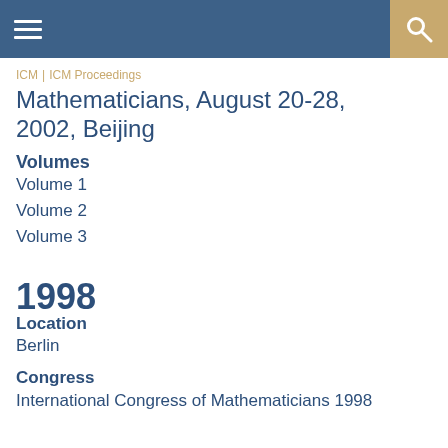ICM | ICM Proceedings
Mathematicians, August 20-28, 2002, Beijing
Volumes
Volume 1
Volume 2
Volume 3
1998
Location
Berlin
Congress
International Congress of Mathematicians 1998